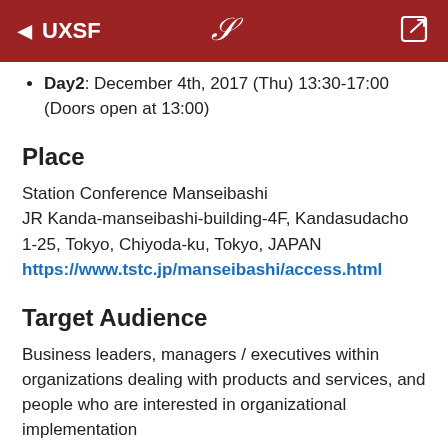◄ UXSF
Day2: December 4th, 2017 (Thu) 13:30-17:00 (Doors open at 13:00)
Place
Station Conference Manseibashi
JR Kanda-manseibashi-building-4F, Kandasudacho 1-25, Tokyo, Chiyoda-ku, Tokyo, JAPAN
https://www.tstc.jp/manseibashi/access.html
Target Audience
Business leaders, managers / executives within organizations dealing with products and services, and people who are interested in organizational implementation